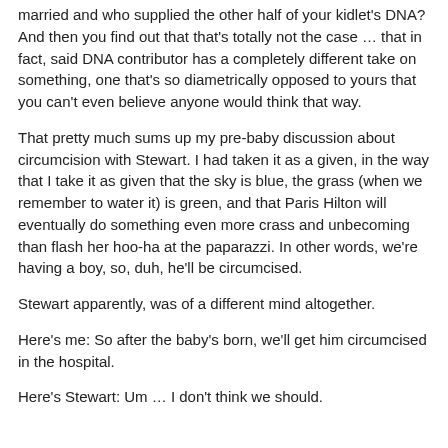married and who supplied the other half of your kidlet's DNA? And then you find out that that's totally not the case … that in fact, said DNA contributor has a completely different take on something, one that's so diametrically opposed to yours that you can't even believe anyone would think that way.
That pretty much sums up my pre-baby discussion about circumcision with Stewart. I had taken it as a given, in the way that I take it as given that the sky is blue, the grass (when we remember to water it) is green, and that Paris Hilton will eventually do something even more crass and unbecoming than flash her hoo-ha at the paparazzi. In other words, we're having a boy, so, duh, he'll be circumcised.
Stewart apparently, was of a different mind altogether.
Here's me: So after the baby's born, we'll get him circumcised in the hospital.
Here's Stewart: Um … I don't think we should.